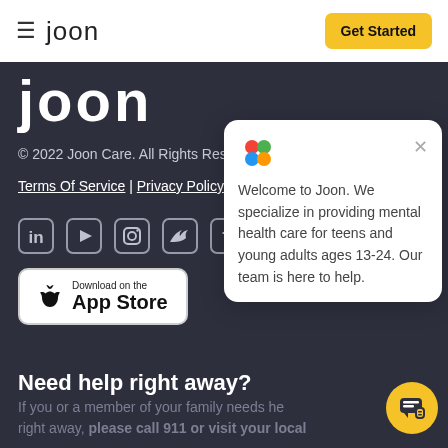≡ joon | Get Started
[Figure (logo): joon large white logo text on dark background]
© 2022 Joon Care. All Rights Reserved.
Terms Of Service | Privacy Policy
[Figure (illustration): Social media icons: LinkedIn, YouTube, Instagram, Twitter, Facebook]
[Figure (illustration): Download on the App Store button]
[Figure (illustration): Chat popup: Welcome to Joon. We specialize in providing mental health care for teens and young adults ages 13-24. Our team is here to help.]
Need help right away?
If you or a member of your family needs help right away, please call 911 or visit your local